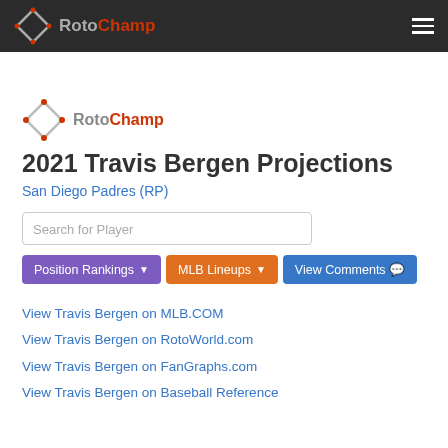RotoChamp
[Figure (logo): RotoChamp logo with diamond shape and RotoChamp text in content area]
2021 Travis Bergen Projections
San Diego Padres (RP)
Search for Player
Position Rankings | MLB Lineups | View Comments
View Travis Bergen on MLB.COM
View Travis Bergen on RotoWorld.com
View Travis Bergen on FanGraphs.com
View Travis Bergen on Baseball Reference